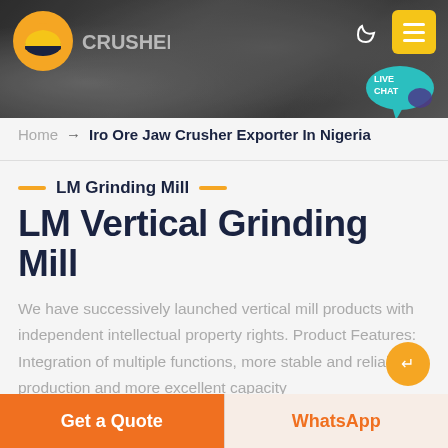[Figure (screenshot): Website header banner with dark rocky/machinery background, orange logo on left, moon icon and yellow menu button on top right, teal live chat bubble on right]
Home → Iro Ore Jaw Crusher Exporter In Nigeria
LM Grinding Mill
LM Vertical Grinding Mill
We have successively launched vertical mill products with independent intellectual property rights. Product Features: Integration of multiple functions, more stable and reliable production and more excellent capacity